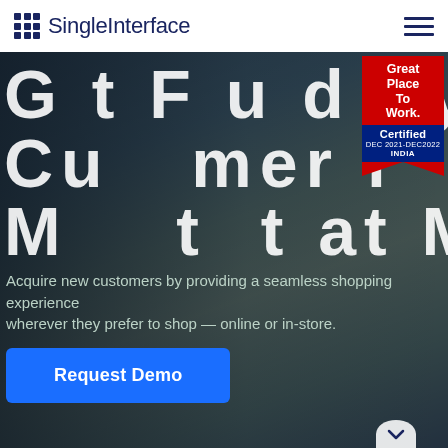SingleInterface
[Figure (screenshot): Hero section with woman looking at smartphone in bus, dark overlay. Large white scattered letters forming 'Get Found by Customer in Moments' headline text overlaid on photo background.]
G t F u d by Cu mer i e M t t at M te
[Figure (logo): Great Place To Work Certified DEC 2021-DEC 2022 INDIA badge — red top panel with white bold text, navy blue bottom panel with Certified text and dates.]
Acquire new customers by providing a seamless shopping experience wherever they prefer to shop — online or in-store.
Request Demo